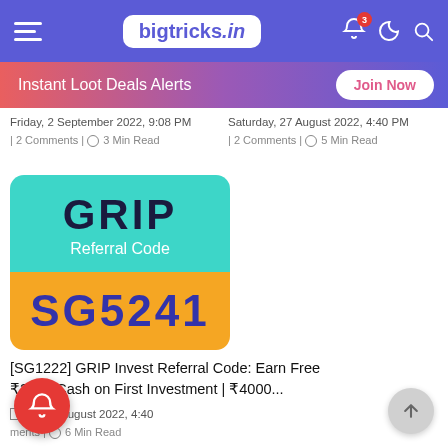bigtricks.in
Instant Loot Deals Alerts
Friday, 2 September 2022, 9:08 PM | 2 Comments | 3 Min Read
Saturday, 27 August 2022, 4:40 PM | 2 Comments | 5 Min Read
[Figure (illustration): GRIP Invest app referral code card with teal top section showing GRIP logo and 'Referral Code' text, and orange bottom section showing code SG5241]
[SG1222] GRIP Invest Referral Code: Earn Free ₹2000 Cash on First Investment | ₹4000...
Saturday, 27 August 2022, 4:40
ments | 6 Min Read